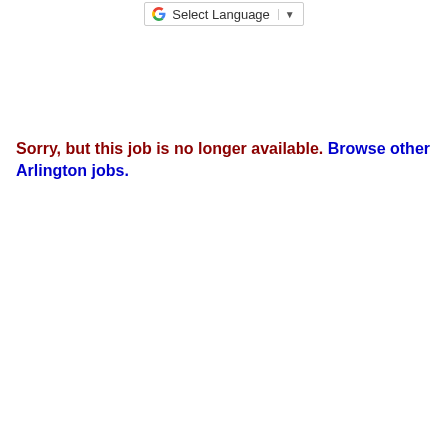Select Language
Sorry, but this job is no longer available. Browse other Arlington jobs.